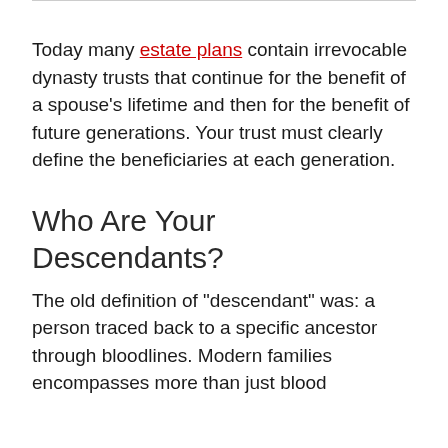Today many estate plans contain irrevocable dynasty trusts that continue for the benefit of a spouse's lifetime and then for the benefit of future generations. Your trust must clearly define the beneficiaries at each generation.
Who Are Your Descendants?
The old definition of "descendant" was: a person traced back to a specific ancestor through bloodlines. Modern families encompasses more than just blood